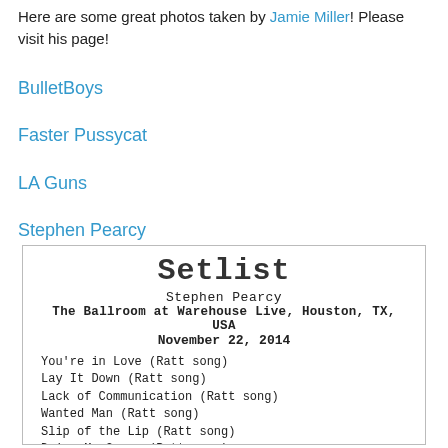Here are some great photos taken by Jamie Miller! Please visit his page!
BulletBoys
Faster Pussycat
LA Guns
Stephen Pearcy
[Figure (other): Setlist image for Stephen Pearcy at The Ballroom at Warehouse Live, Houston, TX, USA, November 22, 2014. Songs: You're in Love (Ratt song), Lay It Down (Ratt song), Lack of Communication (Ratt song), Wanted Man (Ratt song), Slip of the Lip (Ratt song), Drive Me Crazy (Ratt song), Dangerous but Worth the Risk (Ratt song)]